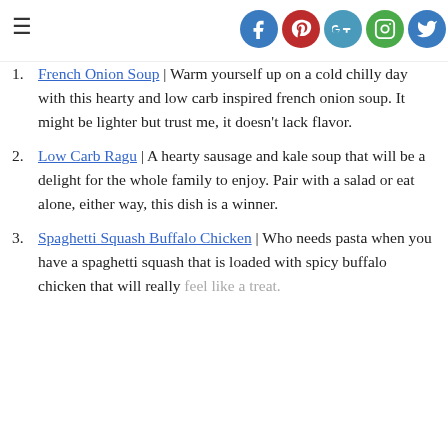≡ [social icons: Facebook, Pinterest, Google+, Instagram, Twitter]
French Onion Soup | Warm yourself up on a cold chilly day with this hearty and low carb inspired french onion soup. It might be lighter but trust me, it doesn't lack flavor.
Low Carb Ragu | A hearty sausage and kale soup that will be a delight for the whole family to enjoy. Pair with a salad or eat alone, either way, this dish is a winner.
Spaghetti Squash Buffalo Chicken | Who needs pasta when you have a spaghetti squash that is loaded with spicy buffalo chicken that will really feel like a treat.